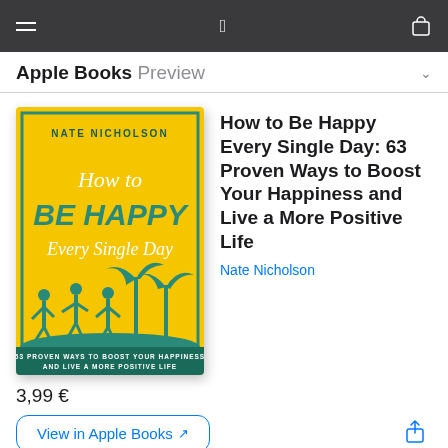Apple Books Preview
How to Be Happy Every Single Day: 63 Proven Ways to Boost Your Happiness and Live a More Positive Life
Nate Nicholson
[Figure (illustration): Book cover for 'How to Be Happy Every Single Day' by Nate Nicholson. Yellow background with teal silhouettes of people jumping and palm trees. White script text 'How to' and teal bold text 'BE HAPPY' and white italic 'Every Single Day'. Bottom teal band reads '63 PROVEN WAYS TO BOOST YOUR HAPPINESS AND LIVE A MORE POSITIVE LIFE'.]
3,99 €
View in Apple Books ↗